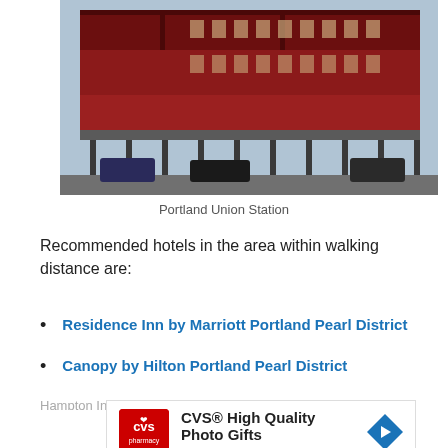[Figure (photo): Photo of Portland Union Station, a large red brick building with dark red roofing, columned canopy along the front, and vehicles parked outside.]
Portland Union Station
Recommended hotels in the area within walking distance are:
Residence Inn by Marriott Portland Pearl District
Canopy by Hilton Portland Pearl District
[Figure (other): Advertisement: CVS® High Quality Photo Gifts - CVS Photo]